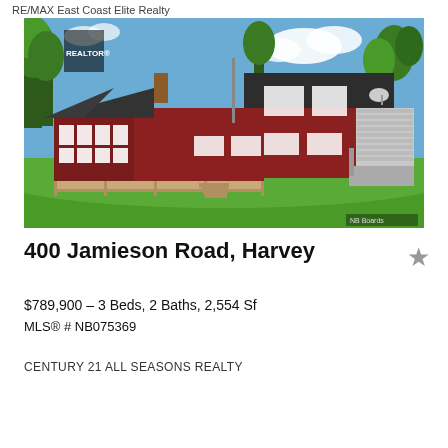RE/MAX East Coast Elite Realty
[Figure (photo): Exterior photo of a red two-storey residential house with white trim, large deck, sunroom addition on the left, attached garage on the right, black shingle roof, manicured lawn, and trees in the background. NB Boards watermark in bottom right.]
400 Jamieson Road, Harvey
$789,900 – 3 Beds, 2 Baths, 2,554 Sf
MLS® # NB075369
CENTURY 21 ALL SEASONS REALTY